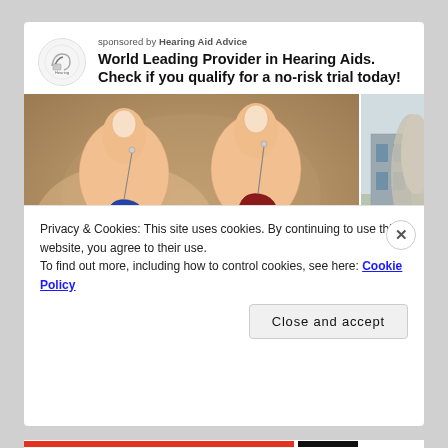sponsored by Hearing Aid Advice
World Leading Provider in Hearing Aids. Check if you qualify for a no-risk trial today!
[Figure (photo): Two hands holding small blue and red Signia hearing aids against a blurred background]
[Figure (photo): Partial view of a person outdoors near a building]
Privacy & Cookies: This site uses cookies. By continuing to use this website, you agree to their use.
To find out more, including how to control cookies, see here: Cookie Policy
Close and accept